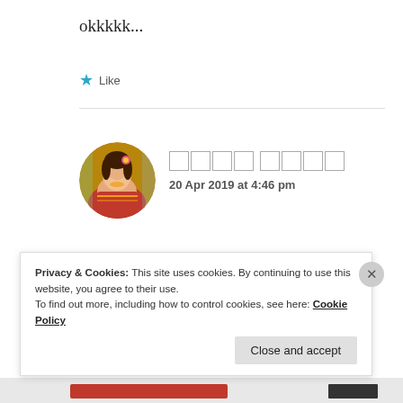okkkkk...
★ Like
[Figure (photo): Circular avatar of a woman in traditional Indian attire/saree with floral decoration]
□□□□ □□□□
20 Apr 2019 at 4:46 pm
so hows you mom dad ??
Privacy & Cookies: This site uses cookies. By continuing to use this website, you agree to their use.
To find out more, including how to control cookies, see here: Cookie Policy
Close and accept